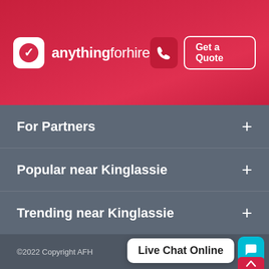[Figure (logo): anythingforhire logo with checkmark icon on red gradient header background, with phone button and Get a Quote button]
For Partners +
Popular near Kinglassie +
Trending near Kinglassie +
Legal Stuff +
[Figure (infographic): Social media icons row: Facebook, Twitter, Instagram, LinkedIn, YouTube — white circles on grey background]
©2022 Copyright AFH
Live Chat Online